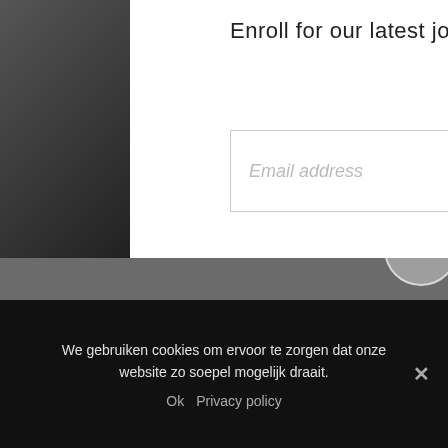Enroll for our latest jobs alerts.
Email address
Send
We gebruiken cookies om ervoor te zorgen dat onze website zo soepel mogelijk draait.
Ok   Privacy policy